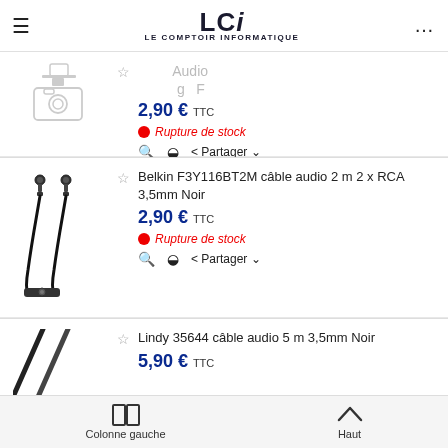LCI — LE COMPTOIR INFORMATIQUE
[Figure (screenshot): Product listing page from Le Comptoir Informatique showing audio cables with prices and stock status]
2,90 € TTC
Rupture de stock
Belkin F3Y116BT2M câble audio 2 m 2 x RCA 3,5mm Noir
2,90 € TTC
Rupture de stock
Lindy 35644 câble audio 5 m 3,5mm Noir
5,90 € TTC
Colonne gauche   Haut